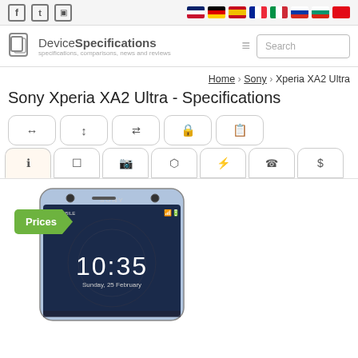DeviceSpecifications - specifications, comparisons, news and reviews
Sony Xperia XA2 Ultra - Specifications
Home › Sony › Xperia XA2 Ultra
[Figure (photo): Sony Xperia XA2 Ultra smartphone front view showing lock screen with time 10:35, Sunday 25 February]
Prices